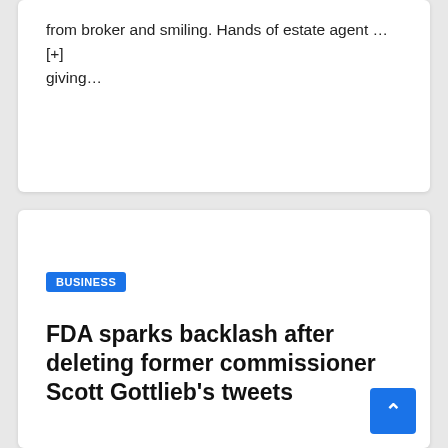from broker and smiling. Hands of estate agent … [+] giving…
BUSINESS
FDA sparks backlash after deleting former commissioner Scott Gottlieb's tweets
DEC 26, 2019
Former Food and Drug Administration Commissioner Scott Gottleib testifies before the House Agriculture, Rural Development, Food and Drug Administration and…